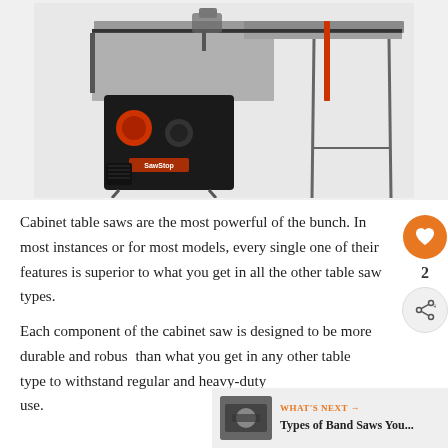[Figure (photo): A cabinet table saw (SawStop brand) with extended black metal table surface, rip fence, and stand legs visible. The saw cabinet is black with red controls.]
Cabinet table saws are the most powerful of the bunch. In most instances or for most models, every single one of their features is superior to what you get in all the other table saw types.
Each component of the cabinet saw is designed to be more durable and robust than what you get in any other table saw type to withstand regular and heavy-duty use.